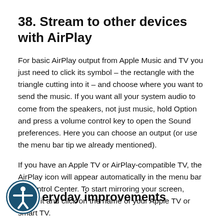38. Stream to other devices with AirPlay
For basic AirPlay output from Apple Music and TV you just need to click its symbol – the rectangle with the triangle cutting into it – and choose where you want to send the music. If you want all your system audio to come from the speakers, not just music, hold Option and press a volume control key to open the Sound preferences. Here you can choose an output (or use the menu bar tip we already mentioned).
If you have an Apple TV or AirPlay-compatible TV, the AirPlay icon will appear automatically in the menu bar or Control Center. To start mirroring your screen, select it and click on the name of your Apple TV or smart TV.
eryday improvements
[Figure (illustration): Accessibility icon — a circular dark teal badge with a white human figure (person with arms extended) inside a circle outline]